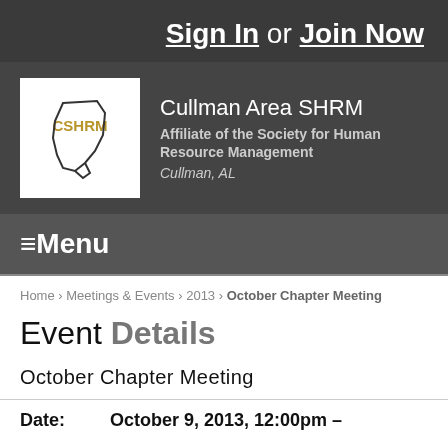Sign In or Join Now
[Figure (logo): Cullman Area SHRM logo with state outline and CSHRM text]
Cullman Area SHRM
Affiliate of the Society for Human Resource Management
Cullman, AL
≡Menu
Home › Meetings & Events › 2013 › October Chapter Meeting
Event Details
October Chapter Meeting
Date: October 9, 2013, 12:00pm –